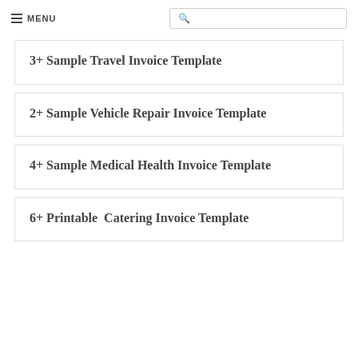MENU
3+ Sample Travel Invoice Template
2+ Sample Vehicle Repair Invoice Template
4+ Sample Medical Health Invoice Template
6+ Printable  Catering Invoice Template